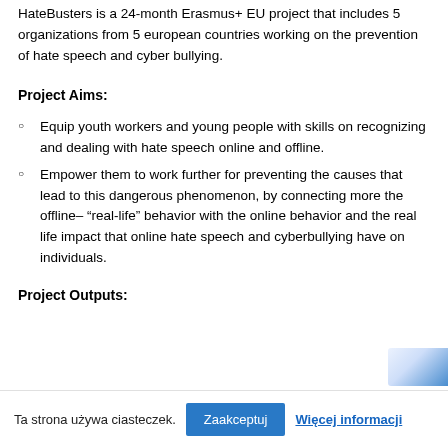HateBusters is a 24-month Erasmus+ EU project that includes 5 organizations from 5 european countries working on the prevention of hate speech and cyber bullying.
Project Aims:
Equip youth workers and young people with skills on recognizing and dealing with hate speech online and offline.
Empower them to work further for preventing the causes that lead to this dangerous phenomenon, by connecting more the offline– “real-life” behavior with the online behavior and the real life impact that online hate speech and cyberbullying have on individuals.
Project Outputs:
Ta strona używa ciasteczek.
Zaakceptuj
Więcej informacji